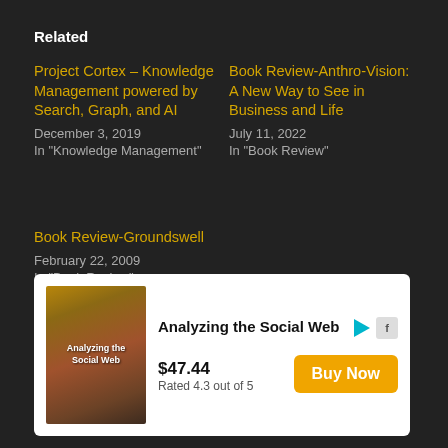Related
Project Cortex – Knowledge Management powered by Search, Graph, and AI
December 3, 2019
In "Knowledge Management"
Book Review-Anthro-Vision: A New Way to See in Business and Life
July 11, 2022
In "Book Review"
Book Review-Groundswell
February 22, 2009
In "Book Review"
[Figure (other): Advertisement for 'Analyzing the Social Web' book showing book cover image, price $47.44, rating 'Rated 4.3 out of 5', and a 'Buy Now' button.]